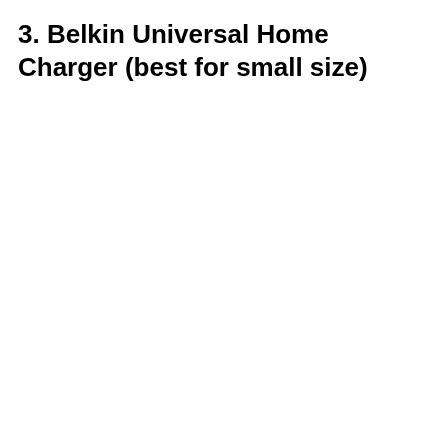3. Belkin Universal Home Charger (best for small size)